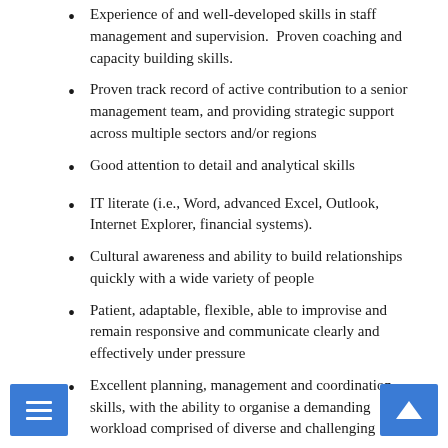Experience of and well-developed skills in staff management and supervision.  Proven coaching and capacity building skills.
Proven track record of active contribution to a senior management team, and providing strategic support across multiple sectors and/or regions
Good attention to detail and analytical skills
IT literate (i.e., Word, advanced Excel, Outlook, Internet Explorer, financial systems).
Cultural awareness and ability to build relationships quickly with a wide variety of people
Patient, adaptable, flexible, able to improvise and remain responsive and communicate clearly and effectively under pressure
Excellent planning, management and coordination skills, with the ability to organise a demanding workload comprised of diverse and challenging